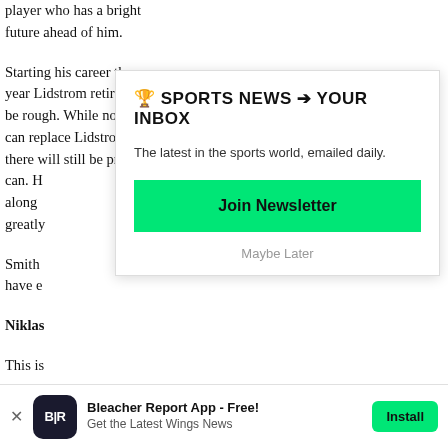player who has a bright future ahead of him.
Starting his career the year Lidstrom retires will be rough. While nobody can replace Lidstrom, there will still be pressu
can. H
along
greatly
Smith
have e
Niklas
This is
season
[Figure (screenshot): Newsletter signup modal overlay with title '🏆 SPORTS NEWS ➔ YOUR INBOX', subtitle 'The latest in the sports world, emailed daily.', a green 'Join Newsletter' button, and a 'Maybe Later' link.]
[Figure (infographic): App install banner at bottom: Bleacher Report App - Free! with BR logo icon, 'Get the Latest Wings News' subtitle, and green 'Install' button.]